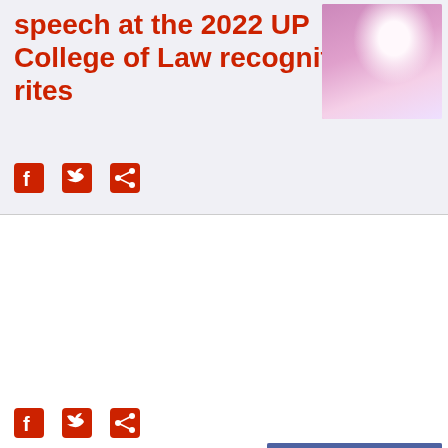speech at the 2022 UP College of Law recognition rites
[Figure (photo): Photo of person at UP College of Law recognition rites, wearing white with pink/purple background]
Social share icons: Facebook, Twitter, Share
FACT CHECK
Angat Buhay will not use MOA with Adarna Publishing to spread lies about Martial Law
[Figure (photo): Photo of person with 'FALSE' badge overlay, showing fact check result for claim about Angat Buhay and Adarna Publishing MOA]
Social share icons: Facebook, Twitter, Share